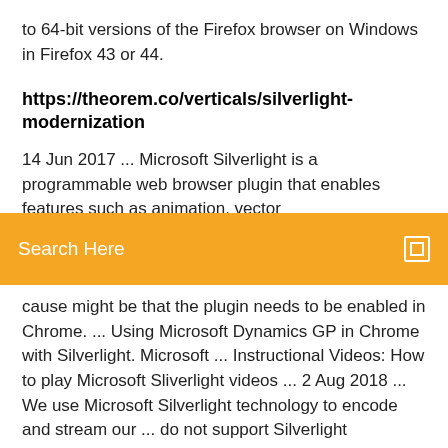to 64-bit versions of the Firefox browser on Windows in Firefox 43 or 44.
https://theorem.co/verticals/silverlight-modernization
14 Jun 2017 ... Microsoft Silverlight is a programmable web browser plugin that enables features such as animation, vector
Search Here
cause might be that the plugin needs to be enabled in Chrome. ... Using Microsoft Dynamics GP in Chrome with Silverlight. Microsoft ... Instructional Videos: How to play Microsoft Sliverlight videos ... 2 Aug 2018 ... We use Microsoft Silverlight technology to encode and stream our ... do not support Silverlight technology, but you can add Microsoft Internet ... 10 Things You Should Know About Microsoft's Silverlight | CIO 7 Aug 2007 ... To ease that pain, Microsoft recently announced Silverlight, a cross-platform, cross-browser plug-in for Web